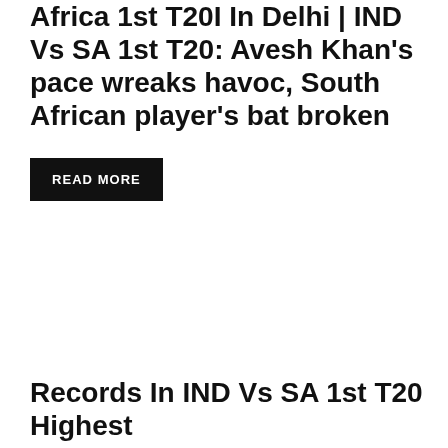Africa 1st T20I In Delhi | IND Vs SA 1st T20: Avesh Khan's pace wreaks havoc, South African player's bat broken
READ MORE
Records In IND Vs SA 1st T20 Highest